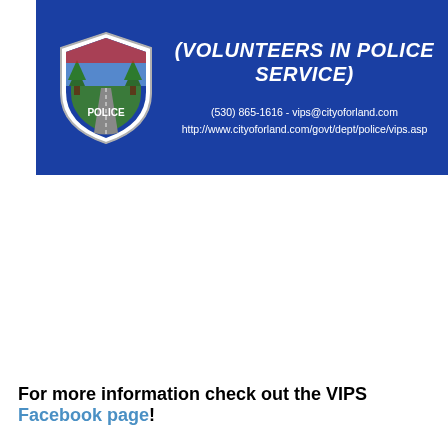[Figure (logo): Blue banner header for Forland VIPS (Volunteers in Police Service) featuring a police department shield/badge logo on the left and italic bold white text '(VOLUNTEERS IN POLICE SERVICE)' with contact information: '(530) 865-1616 - vips@cityoforland.com' and 'http://www.cityoforland.com/govt/dept/police/vips.asp']
For more information check out the VIPS Facebook page!